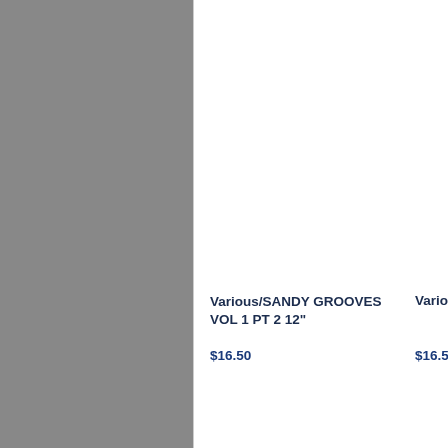[Figure (other): Gray rectangle panel on the left side of the page]
Various/SANDY GROOVES VOL 1 PT 2 12"
$16.50
Vario
$16.5
Various/SECRET WEAPONS PART 12 4LP
$63.00
Vario
$30.0